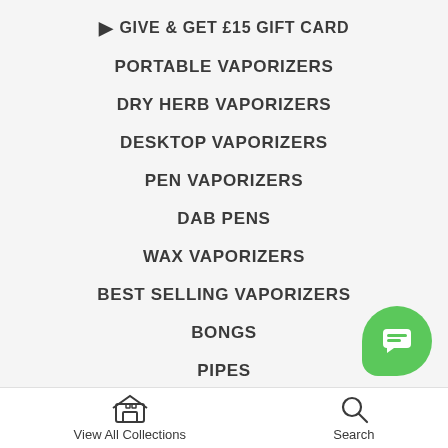GIVE & GET £15 GIFT CARD
PORTABLE VAPORIZERS
DRY HERB VAPORIZERS
DESKTOP VAPORIZERS
PEN VAPORIZERS
DAB PENS
WAX VAPORIZERS
BEST SELLING VAPORIZERS
BONGS
PIPES
View All Collections | Search